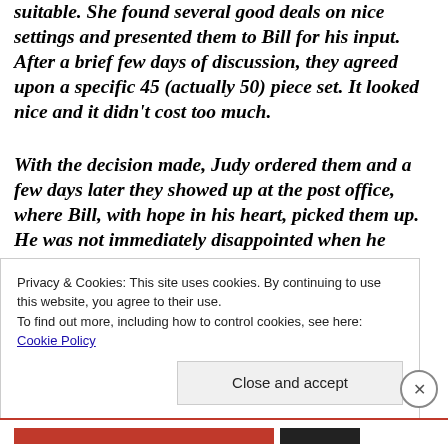suitable. She found several good deals on nice settings and presented them to Bill for his input. After a brief few days of discussion, they agreed upon a specific 45 (actually 50) piece set. It looked nice and it didn't cost too much.
With the decision made, Judy ordered them and a few days later they showed up at the post office, where Bill, with hope in his heart, picked them up. He was not immediately disappointed when he opened the package:
Privacy & Cookies: This site uses cookies. By continuing to use this website, you agree to their use.
To find out more, including how to control cookies, see here:
Cookie Policy
Close and accept